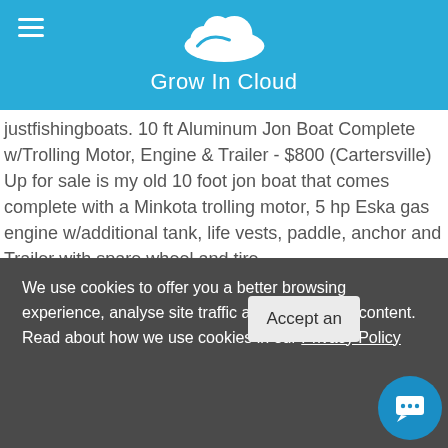Grow In Cloud
justfishingboats. 10 ft Aluminum Jon Boat Complete w/Trolling Motor, Engine & Trailer - $800 (Cartersville) Up for sale is my old 10 foot jon boat that comes complete with a Minkota trolling motor, 5 hp Eska gas engine w/additional tank, life vests, paddle, anchor and Trailer with spare wheel and tire.
This Used a few times only Used 10 ft Jon Boats for Sale G3 Welded Jon Boat. Very nice condition Arvor 215
Excellent condition Arvor 190 Don't miss what's happening in your neighborhood. Standard Boat Hull and dock moulding are... Orkney 522
We use cookies to offer you a better browsing experience, analyse site traffic and personalize content. Read about how we use cookies in our Privacy Policy